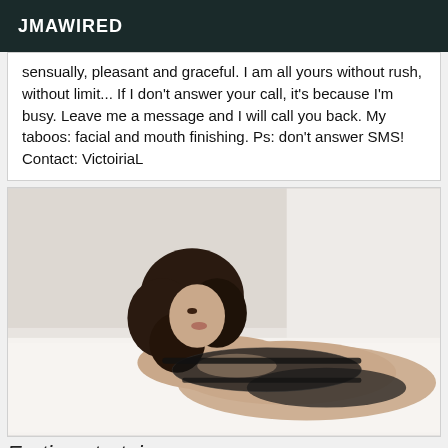JMAWIRED
sensually, pleasant and graceful. I am all yours without rush, without limit... If I don't answer your call, it's because I'm busy. Leave me a message and I will call you back. My taboos: facial and mouth finishing. Ps: don't answer SMS! Contact: VictoiriaL
[Figure (photo): Woman with dark hair lying on a white fur surface, wearing black lace lingerie, posed looking toward camera in a boudoir-style photograph.]
Erotic entertain...